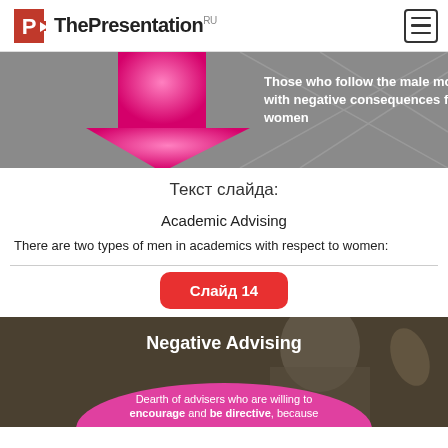ThePresentation RU
[Figure (screenshot): Dark gray slide background with a large pink/magenta downward-pointing arrow on the left. White bold text on the right reads: 'Those who follow the male model; with negative consequences for women']
Текст слайда:
Academic Advising
There are two types of men in academics with respect to women:
Слайд 14
[Figure (screenshot): Dark brownish photo background with a person visible. White bold title 'Negative Advising' at top center. Pink oval shape at bottom with white text: 'Dearth of advisers who are willing to encourage and be directive, because']